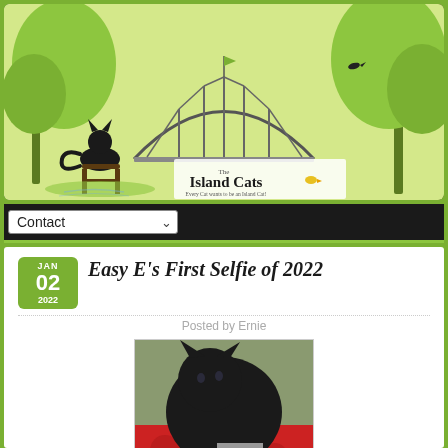[Figure (logo): The Island Cats blog header banner with black cat, bridge illustration, green trees, and tagline 'Every Cat wants to be an Island Cat!']
Contact
Easy E's First Selfie of 2022
Posted by Ernie
[Figure (photo): A black cat looking down at a small silvery New Year's top hat decorated with a star, placed on a red patterned blanket]
Hey guys! How's the new year treating you so far? Even though